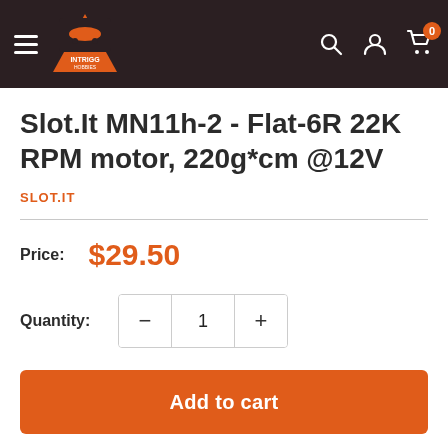Intrigg Hobbies header with logo, hamburger menu, search, account, and cart icons
Slot.It MN11h-2 - Flat-6R 22K RPM motor, 220g*cm @12V
SLOT.IT
Price: $29.50
Quantity: 1
Add to cart